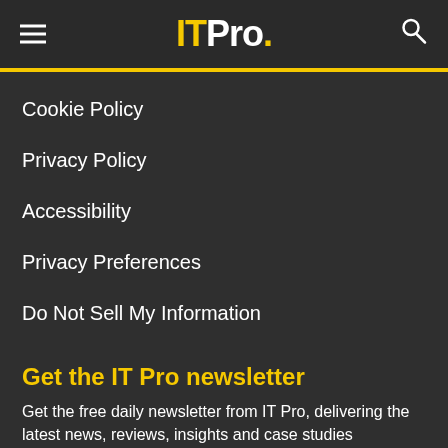IT Pro.
Cookie Policy
Privacy Policy
Accessibility
Privacy Preferences
Do Not Sell My Information
Get the IT Pro newsletter
Get the free daily newsletter from IT Pro, delivering the latest news, reviews, insights and case studies
[Figure (screenshot): Advertisement banner for Seamless food delivery showing pizza image, 'seamless' red button, and 'ORDER NOW' call to action button with close (x) icon]